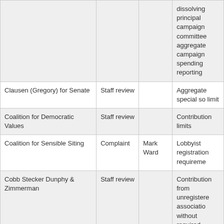|  |  |  |  |
| --- | --- | --- | --- |
|  |  |  | dissolving principal campaign committee aggregate campaign spending reporting |
| Clausen (Gregory) for Senate | Staff review |  | Aggregate special so limit |
| Coalition for Democratic Values | Staff review |  | Contribution limits |
| Coalition for Sensible Siting | Complaint | Mark Ward | Lobbyist registration requireme |
| Cobb Stecker Dunphy & Zimmerman | Staff review |  | Contribution from unregistere associatio without required disclosure |
|  |  |  |  |